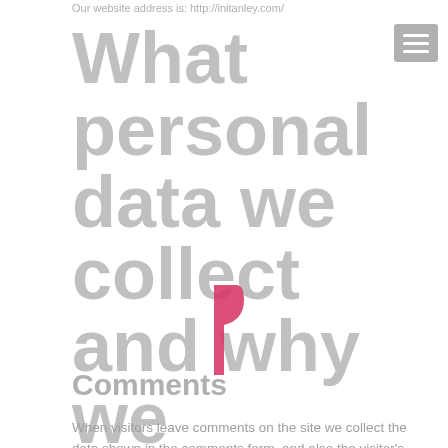Our website address is: http://initanley.com/
What personal data we collect and why we collect it
Comments
When visitors leave comments on the site we collect the data shown in the comments form, and also the visitor's IP address and browser user agent string to help spam detection.